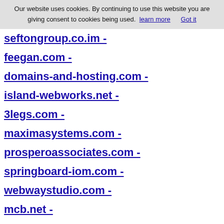Our website uses cookies. By continuing to use this website you are giving consent to cookies being used. learn more   Got it
seftongroup.co.im -
feegan.com -
domains-and-hosting.com -
island-webworks.net -
3legs.com -
maximasystems.com -
prosperoassociates.com -
springboard-iom.com -
webwaystudio.com -
mcb.net -
staplefish.com -